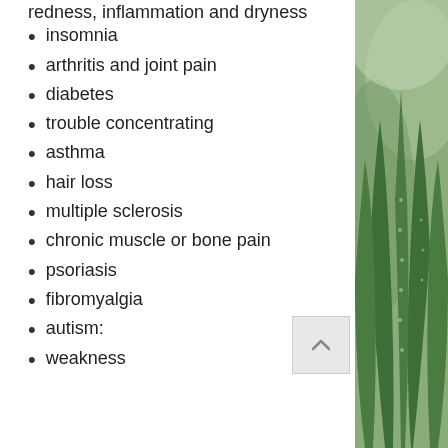redness, inflammation and dryness
insomnia
arthritis and joint pain
diabetes
trouble concentrating
asthma
hair loss
multiple sclerosis
chronic muscle or bone pain
psoriasis
fibromyalgia
autism:
weakness
[Figure (photo): Close-up photo of a green succulent/aloe plant with spiky leaves, blurred background]